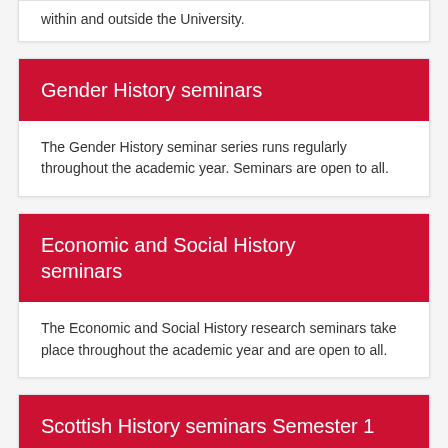within and outside the University.
Gender History seminars
The Gender History seminar series runs regularly throughout the academic year. Seminars are open to all.
Economic and Social History seminars
The Economic and Social History research seminars take place throughout the academic year and are open to all.
Scottish History seminars Semester 1